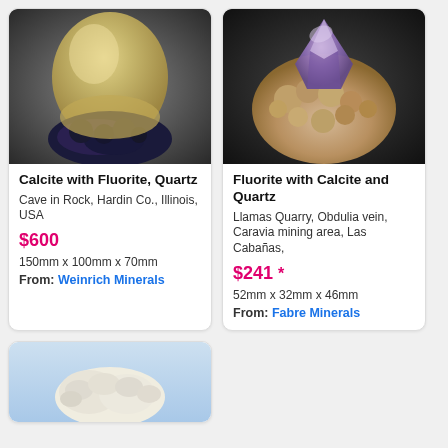[Figure (photo): Photo of Calcite with Fluorite and Quartz mineral specimen - yellowish/cream calcite with dark blue-black fluorite base]
Calcite with Fluorite, Quartz
Cave in Rock, Hardin Co., Illinois, USA
$600
150mm x 100mm x 70mm
From: Weinrich Minerals
[Figure (photo): Photo of Fluorite with Calcite and Quartz mineral specimen - purple/violet fluorite crystal on tan/beige druzy matrix]
Fluorite with Calcite and Quartz
Llamas Quarry, Obdulia vein, Caravia mining area, Las Cabañas,
$241 *
52mm x 32mm x 46mm
From: Fabre Minerals
[Figure (photo): Partial photo of a third mineral specimen - white/cream colored mineral on light blue background, card partially cut off at bottom of page]